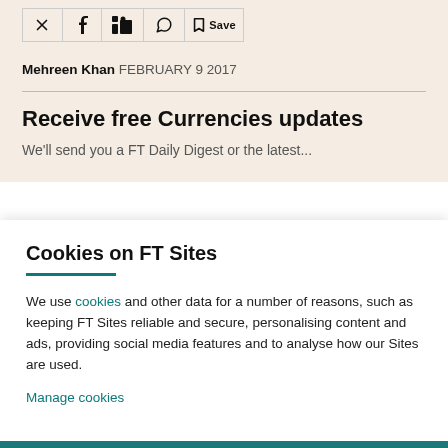Share bar with social icons
Mehreen Khan FEBRUARY 9 2017
Receive free Currencies updates
We'll send you a FT Daily Digest or the latest...
Cookies on FT Sites
We use cookies and other data for a number of reasons, such as keeping FT Sites reliable and secure, personalising content and ads, providing social media features and to analyse how our Sites are used.
Manage cookies
Accept & continue